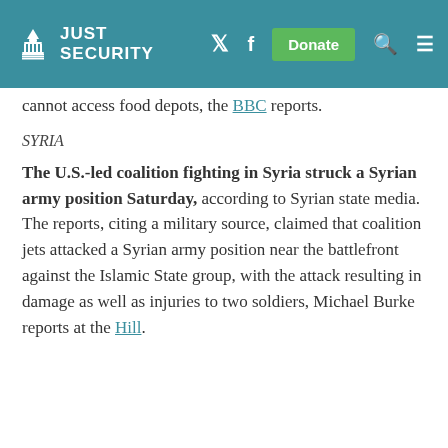JUST SECURITY
cannot access food depots,  the BBC reports.
SYRIA
The U.S.-led coalition fighting in Syria struck a Syrian army position Saturday, according to Syrian state media. The reports, citing a military source, claimed that coalition jets attacked a Syrian army position near the battlefront against the Islamic State group, with the attack resulting in damage as well as injuries to two soldiers, Michael Burke reports at the Hill.